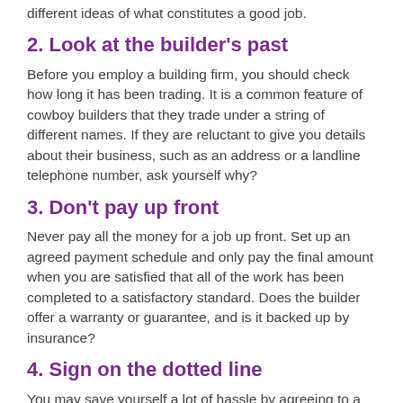different ideas of what constitutes a good job.
2. Look at the builder's past
Before you employ a building firm, you should check how long it has been trading. It is a common feature of cowboy builders that they trade under a string of different names. If they are reluctant to give you details about their business, such as an address or a landline telephone number, ask yourself why?
3. Don't pay up front
Never pay all the money for a job up front. Set up an agreed payment schedule and only pay the final amount when you are satisfied that all of the work has been completed to a satisfactory standard. Does the builder offer a warranty or guarantee, and is it backed up by insurance?
4. Sign on the dotted line
You may save yourself a lot of hassle by agreeing to a contract in writing before the job starts. It may feel like an unnecessary chore, but you'll thank yourself later. Get